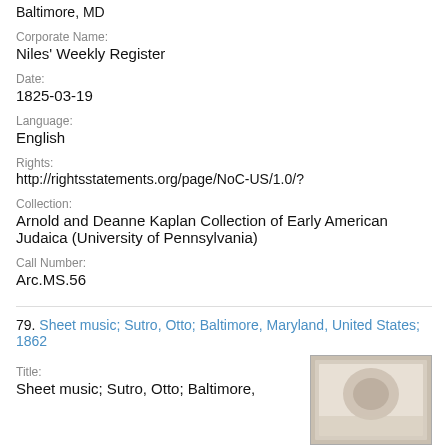Baltimore, MD
Corporate Name:
Niles' Weekly Register
Date:
1825-03-19
Language:
English
Rights:
http://rightsstatements.org/page/NoC-US/1.0/?
Collection:
Arnold and Deanne Kaplan Collection of Early American Judaica (University of Pennsylvania)
Call Number:
Arc.MS.56
79. Sheet music; Sutro, Otto; Baltimore, Maryland, United States; 1862
Title:
Sheet music; Sutro, Otto; Baltimore,
[Figure (photo): Thumbnail image of sheet music document, aged paper appearance]